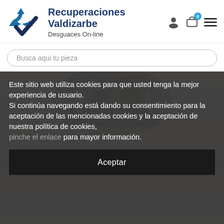[Figure (logo): Recuperaciones Valdizarbe logo with recycling symbol and checkmark, alongside brand name and tagline]
Busca aqui tu pieza
[Figure (photo): Close-up photo of a car brake caliper or suspension component]
Este sitio web utiliza cookies para que usted tenga la mejor experiencia de usuario.
Si continúa navegando está dando su consentimiento para la aceptación de las mencionadas cookies y la aceptación de nuestra política de cookies,
pinche el enlace para mayor información.
Aceptar